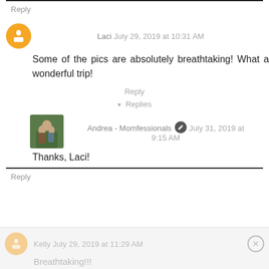Reply
Laci July 29, 2019 at 10:31 AM
Some of the pics are absolutely breathtaking! What a wonderful trip!
Reply
▾ Replies
Andrea - Momfessionals July 31, 2019 at 9:15 AM
Thanks, Laci!
Reply
Kelly July 29, 2019 at 11:29 AM
Breathtaking!!!